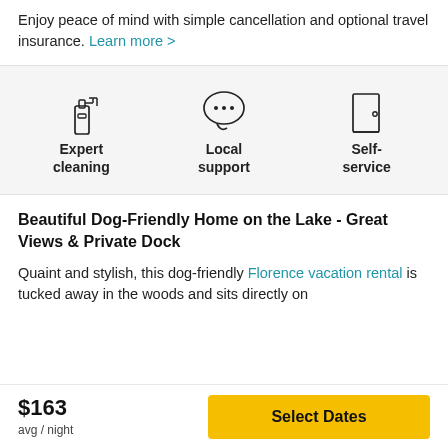Enjoy peace of mind with simple cancellation and optional travel insurance. Learn more >
[Figure (infographic): Three icons in a row on a light grey background: spray bottle (Expert cleaning), speech bubble with dots (Local support), door (Self-service)]
Beautiful Dog-Friendly Home on the Lake - Great Views & Private Dock
Quaint and stylish, this dog-friendly Florence vacation rental is tucked away in the woods and sits directly on
$163 avg / night
Select Dates